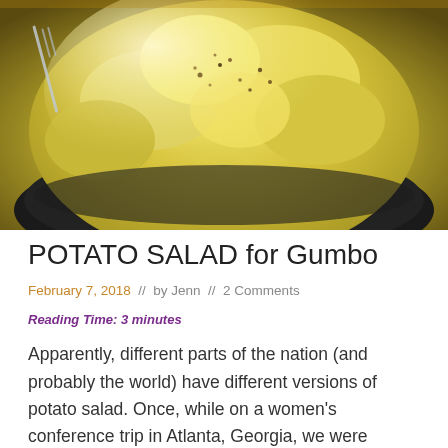[Figure (photo): Close-up photo of potato salad in a dark bowl, with seasoning (pepper/paprika) sprinkled on top, and a fork visible at the upper left.]
POTATO SALAD for Gumbo
February 7, 2018  //  by Jenn  //  2 Comments
Reading Time: 3 minutes
Apparently, different parts of the nation (and probably the world) have different versions of potato salad. Once, while on a women's conference trip in Atlanta, Georgia, we were having lunch at a fancy restaurant. I ordered potato salad and soup, and to my surprise, it